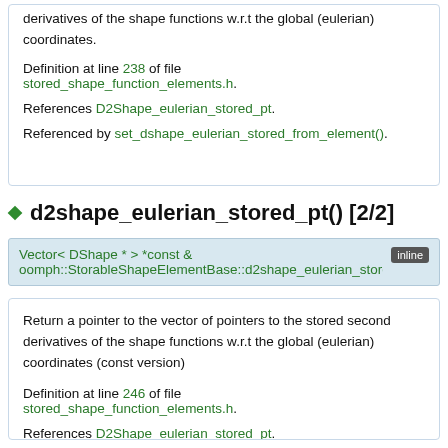derivatives of the shape functions w.r.t the global (eulerian) coordinates.
Definition at line 238 of file stored_shape_function_elements.h.
References D2Shape_eulerian_stored_pt.
Referenced by set_dshape_eulerian_stored_from_element().
◆ d2shape_eulerian_stored_pt() [2/2]
Vector< DShape * > *const & oomph::StorableShapeElementBase::d2shape_eulerian_stored_pt  inline
Return a pointer to the vector of pointers to the stored second derivatives of the shape functions w.r.t the global (eulerian) coordinates (const version)
Definition at line 246 of file stored_shape_function_elements.h.
References D2Shape_eulerian_stored_pt.